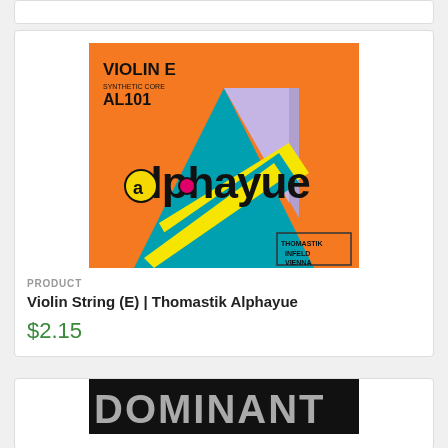[Figure (photo): Thomastik Alphayue Violin E String product packaging image - colorful orange, teal, yellow and purple design with 'alphayue' logo, VIOLIN E SYNTHETIC CORE AL101 text, and Thomastik Infeld Vienna branding]
PRODUCT
Violin String (E) | Thomastik Alphayue
$2.15
[Figure (logo): DOMINANT brand logo in large silver/grey block letters on black background]